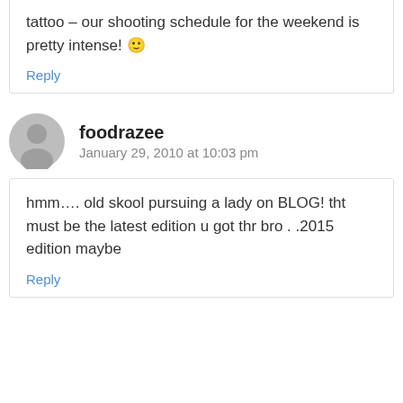tattoo – our shooting schedule for the weekend is pretty intense! 🙂
Reply
foodrazee
January 29, 2010 at 10:03 pm
hmm…. old skool pursuing a lady on BLOG! tht must be the latest edition u got thr bro . .2015 edition maybe
Reply